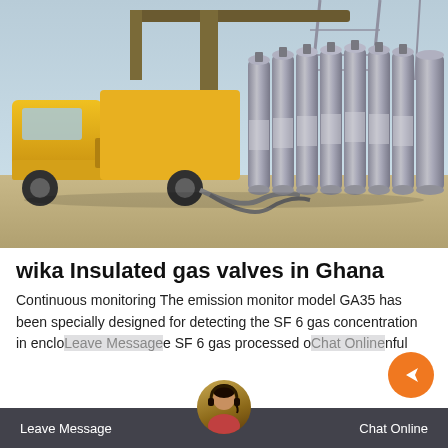[Figure (photo): Industrial scene with a yellow utility truck on the left and rows of gray SF6 gas cylinders on the right, at what appears to be an electrical substation with steel structures in the background.]
wika Insulated gas valves in Ghana
Continuous monitoring The emission monitor model GA35 has been specially designed for detecting the SF 6 gas concentration in enclosures. SF 6 gas is processed or harmful SF 6...